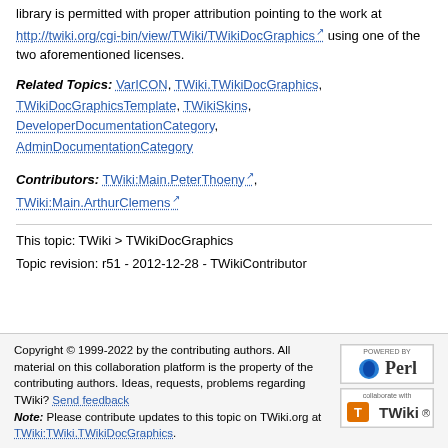library is permitted with proper attribution pointing to the work at http://twiki.org/cgi-bin/view/TWiki/TWikiDocGraphics using one of the two aforementioned licenses.
Related Topics: VarICON, TWiki.TWikiDocGraphics, TWikiDocGraphicsTemplate, TWikiSkins, DeveloperDocumentationCategory, AdminDocumentationCategory
Contributors: TWiki:Main.PeterThoeny, TWiki:Main.ArthurClemens
This topic: TWiki > TWikiDocGraphics
Topic revision: r51 - 2012-12-28 - TWikiContributor
Copyright © 1999-2022 by the contributing authors. All material on this collaboration platform is the property of the contributing authors. Ideas, requests, problems regarding TWiki? Send feedback Note: Please contribute updates to this topic on TWiki.org at TWiki:TWiki.TWikiDocGraphics.